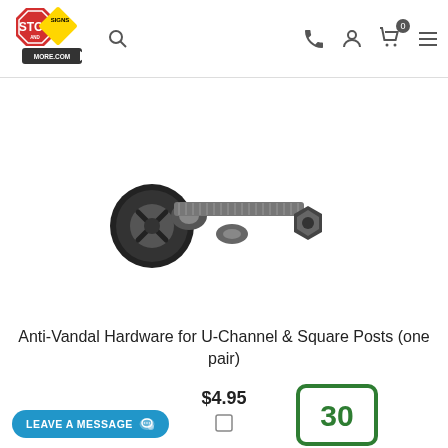Stop and Signs More - navigation header with search, phone, account, cart (0), and menu icons
[Figure (photo): Anti-vandal hardware bolt and nut set for U-Channel and square posts on white background]
Anti-Vandal Hardware for U-Channel & Square Posts (one pair)
$4.95
[Figure (other): Checkbox (unchecked)]
LEAVE A MESSAGE
[Figure (other): Green-bordered road sign showing number 30]